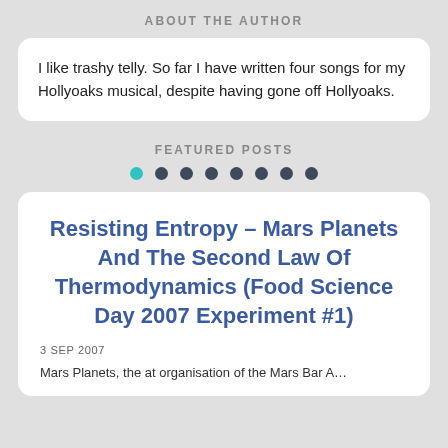ABOUT THE AUTHOR
I like trashy telly. So far I have written four songs for my Hollyoaks musical, despite having gone off Hollyoaks.
FEATURED POSTS
[Figure (other): Row of 8 navigation dots, first dot is teal/active, remaining 7 are dark gray]
Resisting Entropy – Mars Planets And The Second Law Of Thermodynamics (Food Science Day 2007 Experiment #1)
3 SEP 2007
Mars Planets, the at organisation of the Mars Bar A...